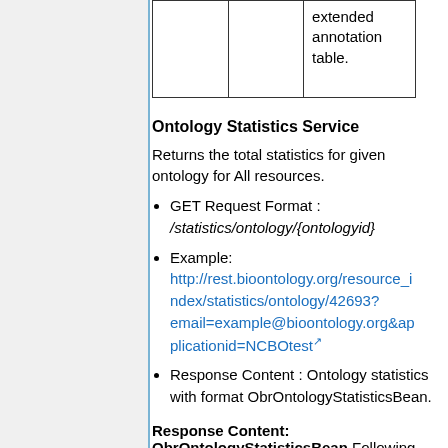|  |  | extended annotation table. |
Ontology Statistics Service
Returns the total statistics for given ontology for All resources.
GET Request Format : /statistics/ontology/{ontologyid}
Example: http://rest.bioontology.org/resource_index/statistics/ontology/42693?email=example@bioontology.org&applicationid=NCBOtest
Response Content : Ontology statistics with format ObrOntologyStatisticsBean.
Response Content: ObrOntologyStatisticsBean Following